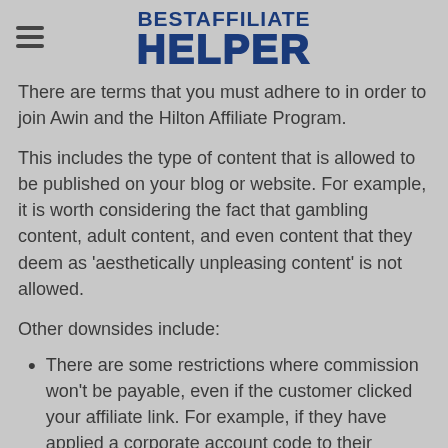BESTAFFILIATE HELPER
There are terms that you must adhere to in order to join Awin and the Hilton Affiliate Program.
This includes the type of content that is allowed to be published on your blog or website. For example, it is worth considering the fact that gambling content, adult content, and even content that they deem as 'aesthetically unpleasing content' is not allowed.
Other downsides include:
There are some restrictions where commission won't be payable, even if the customer clicked your affiliate link. For example, if they have applied a corporate account code to their